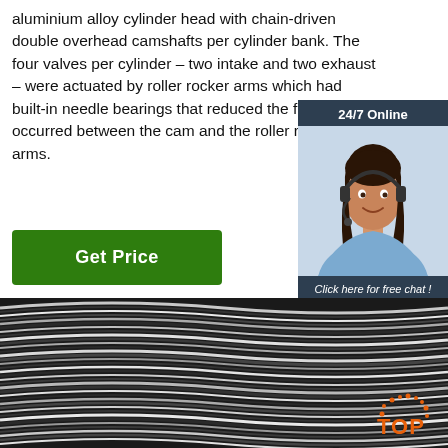aluminium alloy cylinder head with chain-driven double overhead camshafts per cylinder bank. The four valves per cylinder – two intake and two exhaust – were actuated by roller rocker arms which had built-in needle bearings that reduced the friction that occurred between the cam and the roller rocker arms.
Get Price
[Figure (infographic): Chat widget with '24/7 Online' header, photo of a woman with a headset, 'Click here for free chat !' text, and an orange 'QUOTATION' button]
[Figure (photo): Close-up photo of coiled metal wire/cable with dark and light spiral strands]
[Figure (logo): Orange circular dot pattern TOP logo in the bottom right corner]